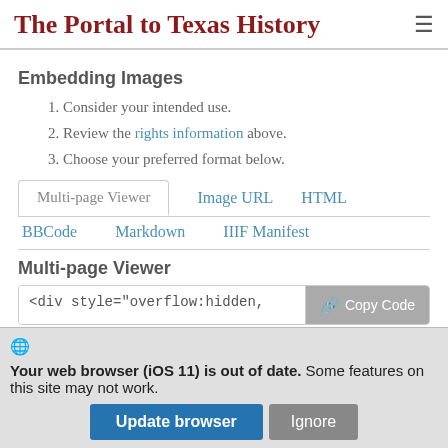The Portal to Texas History
Embedding Images
1. Consider your intended use.
2. Review the rights information above.
3. Choose your preferred format below.
Multi-page Viewer | Image URL | HTML | BBCode | Markdown | IIIF Manifest
Multi-page Viewer
<div style="overflow:hidden,
Your web browser (iOS 11) is out of date. Some features on this site may not work.
Update browser  Ignore